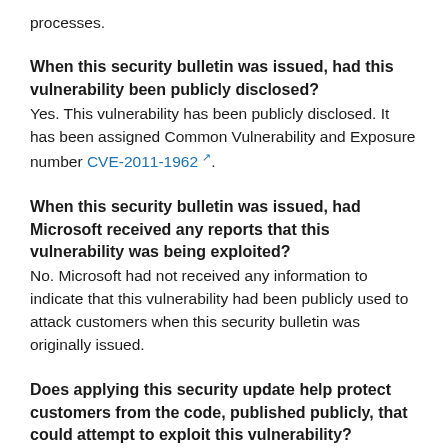processes.
When this security bulletin was issued, had this vulnerability been publicly disclosed?
Yes. This vulnerability has been publicly disclosed. It has been assigned Common Vulnerability and Exposure number CVE-2011-1962.
When this security bulletin was issued, had Microsoft received any reports that this vulnerability was being exploited?
No. Microsoft had not received any information to indicate that this vulnerability had been publicly used to attack customers when this security bulletin was originally issued.
Does applying this security update help protect customers from the code, published publicly, that could attempt to exploit this vulnerability?
Yes. This security update addresses the vulnerability that